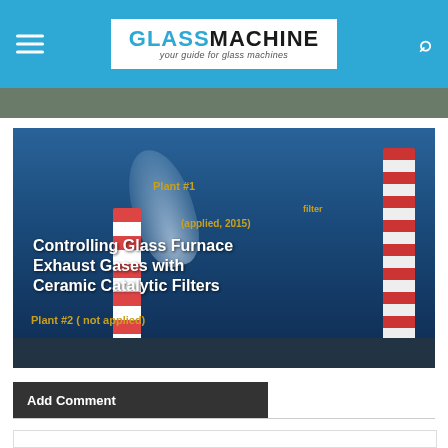GLASSMACHINE — your guide for glass machines
[Figure (photo): Industrial photo showing two large industrial chimneys against a blue sky. The left chimney emits a white smoke/steam plume. Text overlaid on the image reads: 'Plant #1 (filter applied, 2015)' in gold/yellow, and 'Controlling Glass Furnace Exhaust Gases with Ceramic Catalytic Filters' in white bold, and 'Plant #2 ( not applied)' in gold/yellow at the bottom left.]
Add Comment